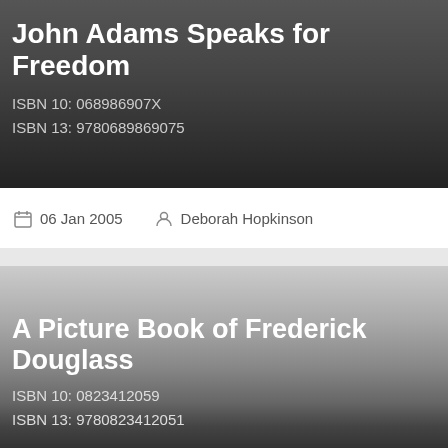John Adams Speaks for Freedom
ISBN 10: 068986907X
ISBN 13: 9780689869075
06 Jan 2005   Deborah Hopkinson
A Picture Book of Frederick Douglass
ISBN 10: 0823412059
ISBN 13: 9780823412051